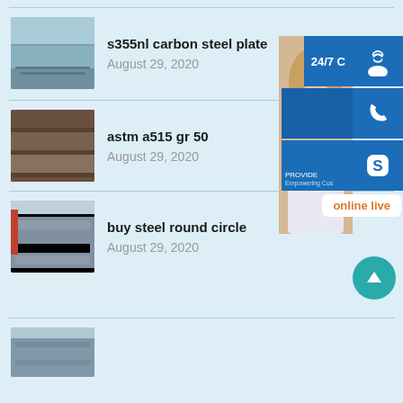s355nl carbon steel plate
August 29, 2020
astm a515 gr 50
August 29, 2020
buy steel round circle
August 29, 2020
[Figure (screenshot): Customer service overlay widget with headset icon (24/7), phone icon, Skype icon, and online live button, with a customer service representative image in background]
(partial fourth list item visible at bottom)